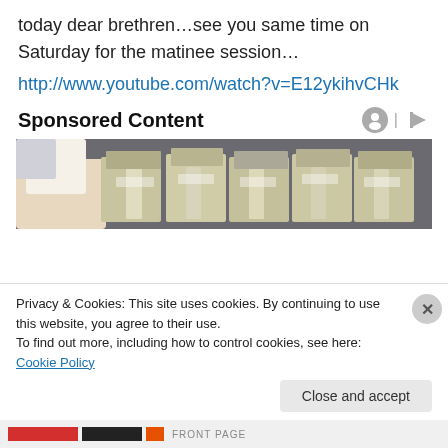today dear brethren…see you same time on Saturday for the matinee session…
http://www.youtube.com/watch?v=E12ykihvCHk
Sponsored Content
[Figure (photo): Photo of stacks of bundled currency/banknotes on a table, with hands in background]
Privacy & Cookies: This site uses cookies. By continuing to use this website, you agree to their use.
To find out more, including how to control cookies, see here: Cookie Policy
Close and accept